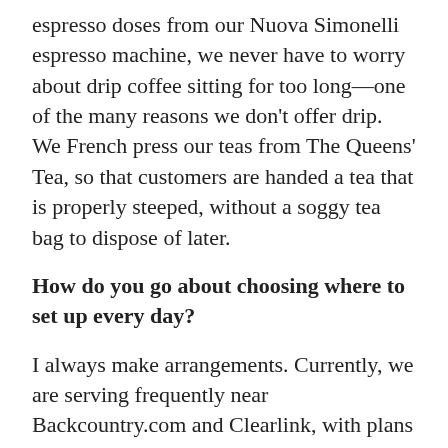espresso doses from our Nuova Simonelli espresso machine, we never have to worry about drip coffee sitting for too long—one of the many reasons we don't offer drip. We French press our teas from The Queens' Tea, so that customers are handed a tea that is properly steeped, without a soggy tea bag to dispose of later.
How do you go about choosing where to set up every day?
I always make arrangements. Currently, we are serving frequently near Backcountry.com and Clearlink, with plans in the works for Sugarmont Plaza, Cottonwood Heights and Murray locations. Our Saturdays are mostly dedicated to events. By making arrangements ahead of time, customers know where to find us, and the brands we are